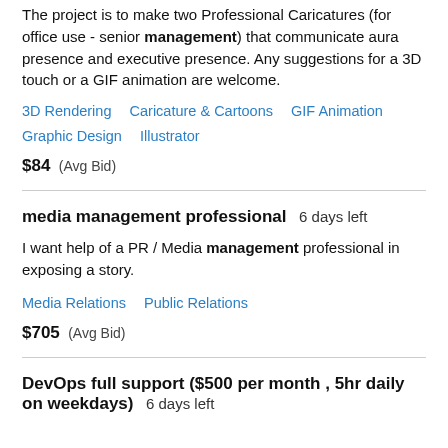The project is to make two Professional Caricatures (for office use - senior management) that communicate aura presence and executive presence. Any suggestions for a 3D touch or a GIF animation are welcome.
3D Rendering   Caricature & Cartoons   GIF Animation   Graphic Design   Illustrator
$84  (Avg Bid)
media management professional   6 days left
I want help of a PR / Media management professional in exposing a story.
Media Relations   Public Relations
$705  (Avg Bid)
DevOps full support ($500 per month , 5hr daily on weekdays)   6 days left